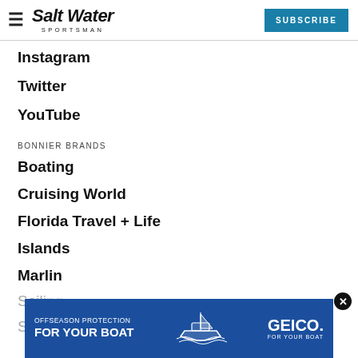Salt Water Sportsman — SUBSCRIBE
Instagram
Twitter
YouTube
BONNIER BRANDS
Boating
Cruising World
Florida Travel + Life
Islands
Marlin
Sailing
Salt Water Sportsman
[Figure (infographic): GEICO advertisement banner: OFFSEASON PROTECTION FOR YOUR BOAT with boat illustration and GEICO FOR YOUR BOAT logo]